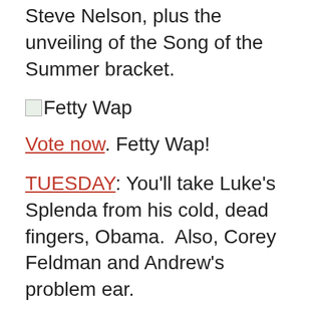Steve Nelson, plus the unveiling of the Song of the Summer bracket.
[Figure (photo): Broken image placeholder labeled 'Fetty Wap']
Vote now. Fetty Wap!
TUESDAY: You'll take Luke's Splenda from his cold, dead fingers, Obama.  Also, Corey Feldman and Andrew's problem ear.
WEDNESDAY: Management responds to complaints about the Song of the Summer selections.
[Figure (photo): Broken image placeholder labeled 'screaming screaming']
THURSDAY: Instead of being a basket case,